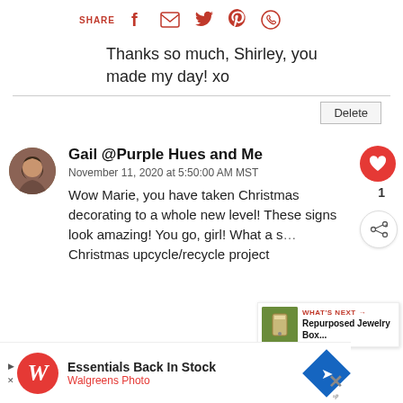[Figure (infographic): Social sharing bar with SHARE label and icons for Facebook, Email, Twitter, Pinterest, WhatsApp in red/pink]
Thanks so much, Shirley, you made my day! xo
[Figure (other): Delete button with horizontal rule]
[Figure (infographic): User avatar (circular photo of woman), heart/like button (red circle, count 1), share button]
Gail @Purple Hues and Me
November 11, 2020 at 5:50:00 AM MST
Wow Marie, you have taken Christmas decorating to a whole new level! These signs look amazing! You go, girl! What a s... Christmas upcycle/recycle project
[Figure (infographic): WHAT'S NEXT banner with image and text: Repurposed Jewelry Box...]
[Figure (infographic): Advertisement bar: Walgreens Photo - Essentials Back In Stock]